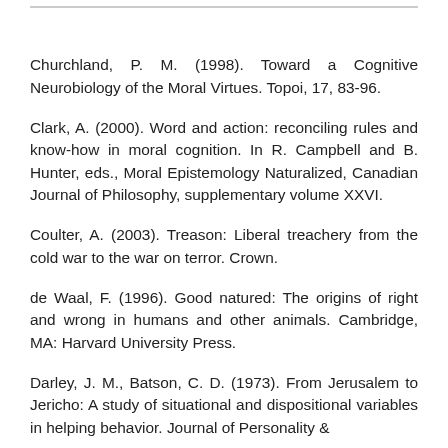Churchland, P. M. (1998). Toward a Cognitive Neurobiology of the Moral Virtues. Topoi, 17, 83-96.
Clark, A. (2000). Word and action: reconciling rules and know-how in moral cognition. In R. Campbell and B. Hunter, eds., Moral Epistemology Naturalized, Canadian Journal of Philosophy, supplementary volume XXVI.
Coulter, A. (2003). Treason: Liberal treachery from the cold war to the war on terror. Crown.
de Waal, F. (1996). Good natured: The origins of right and wrong in humans and other animals. Cambridge, MA: Harvard University Press.
Darley, J. M., Batson, C. D. (1973). From Jerusalem to Jericho: A study of situational and dispositional variables in helping behavior. Journal of Personality &